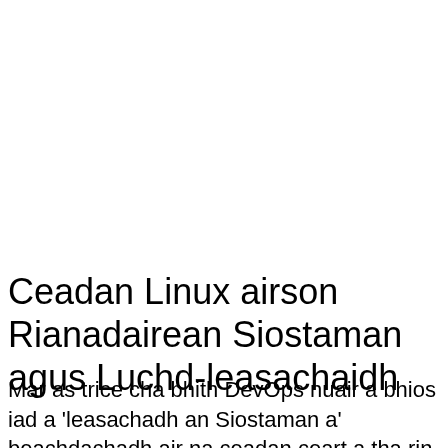Ceadan Linux airson Rianadairean Siostaman agus Luchd-leasachaidh
Mar as trice cha bhith DevOps nuair a bhios iad a 'leasachadh an Siostaman a' beachdachadh air na ceadan ceart a tha rin cur an gnìomh. Agus an seo